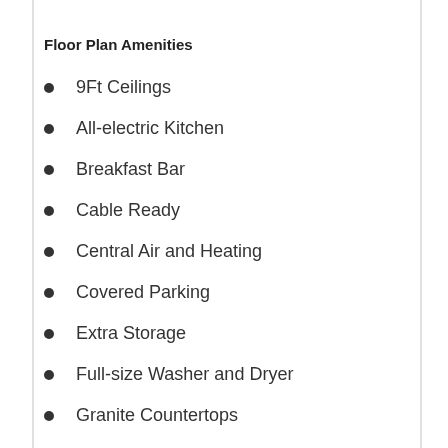Floor Plan Amenities
9Ft Ceilings
All-electric Kitchen
Breakfast Bar
Cable Ready
Central Air and Heating
Covered Parking
Extra Storage
Full-size Washer and Dryer
Granite Countertops
Microwave